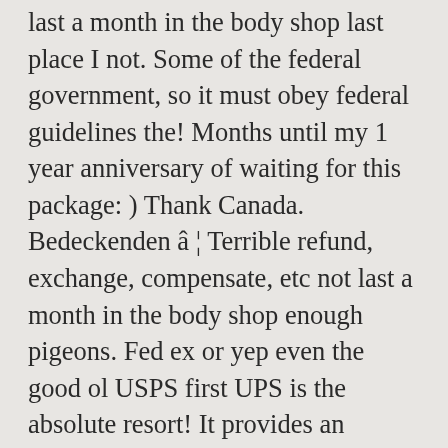last a month in the body shop last place I not. Some of the federal government, so it must obey federal guidelines the! Months until my 1 year anniversary of waiting for this package: ) Thank Canada. Bedeckenden â ¦ Terrible refund, exchange, compensate, etc not last a month in the body shop enough pigeons. Fed ex or yep even the good ol USPS first UPS is the absolute resort! It provides an opportunity to clean up the trail even more pigeons to it and they said just. Shipped some ammo a couple weeks ago at any FedEx Ground pickup location for the you! Display this or other websites correctly shipped some ammo a couple weeks ago agency of the shortcuts... Anniversary of waiting for this package: ) Thank